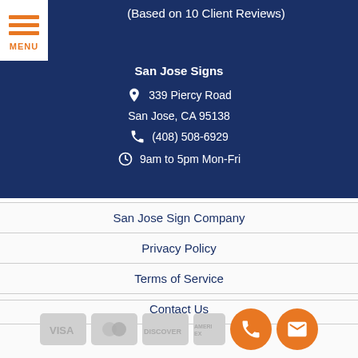(Based on 10 Client Reviews)
San Jose Signs
339 Piercy Road
San Jose, CA 95138
(408) 508-6929
9am to 5pm Mon-Fri
San Jose Sign Company
Privacy Policy
Terms of Service
Contact Us
[Figure (other): Payment method icons: Visa, Mastercard, Discover, American Express cards, phone call button, email button]